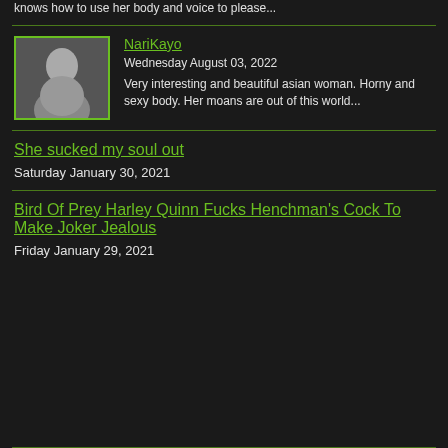knows how to use her body and voice to please...
[Figure (photo): Thumbnail photo of NariKayo]
NariKayo
Wednesday August 03, 2022
Very interesting and beautiful asian woman. Horny and sexy body. Her moans are out of this world...
She sucked my soul out
Saturday January 30, 2021
Bird Of Prey Harley Quinn Fucks Henchman's Cock To Make Joker Jealous
Friday January 29, 2021